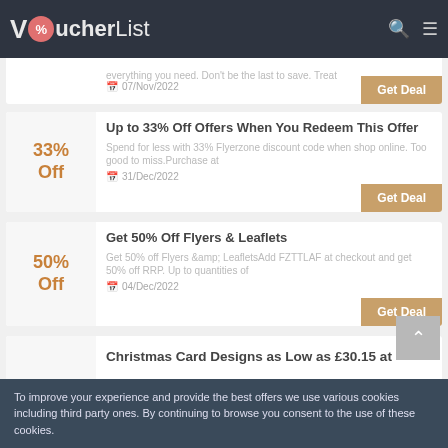VoucherList
everything you need. Don't be the last to save. Treat
07/Nov/2022
Up to 33% Off Offers When You Redeem This Offer
Spend for less with 33% Flyerzone discount code when shop online. Too good to miss.Purchase at
31/Dec/2022
Get 50% Off Flyers & Leaflets
Get 50% off Flyers &amp; LeafletsAdd FZTTLAF at checkout and get 50% off RRP. Up to quantities of
04/Dec/2022
Christmas Card Designs as Low as £30.15 at
To improve your experience and provide the best offers we use various cookies including third party ones. By continuing to browse you consent to the use of these cookies.